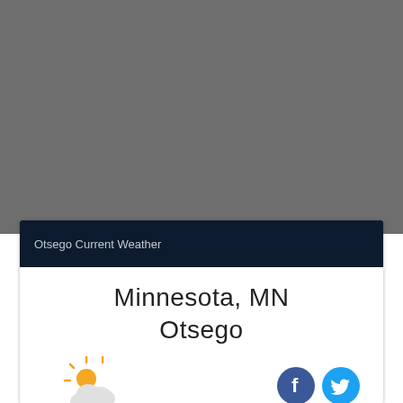[Figure (screenshot): Gray background area occupying the upper portion of the page]
Otsego Current Weather
Minnesota, MN
Otsego
[Figure (illustration): Partly sunny weather icon with sun rays and cloud; Facebook and Twitter social media circular icons on the right]